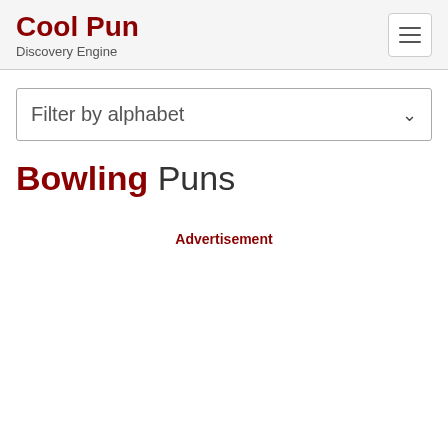Cool Pun Discovery Engine
Filter by alphabet
Bowling Puns
Advertisement